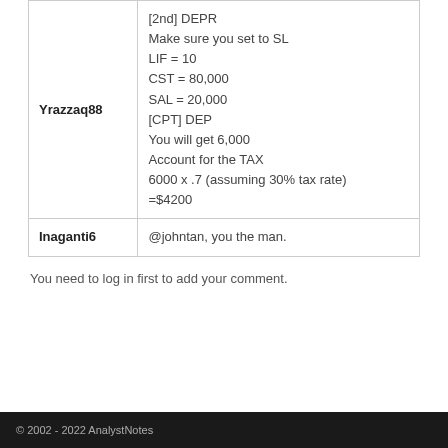| Yrazzaq88 | [2nd] DEPR
Make sure you set to SL
LIF = 10
CST = 80,000
SAL = 20,000
[CPT] DEP
You will get 6,000
Account for the TAX
6000 x .7 (assuming 30% tax rate)
=$4200 |
| Inaganti6 | @johntan, you the man. |
You need to log in first to add your comment.
© 2002 - 2022 AnalystNotes